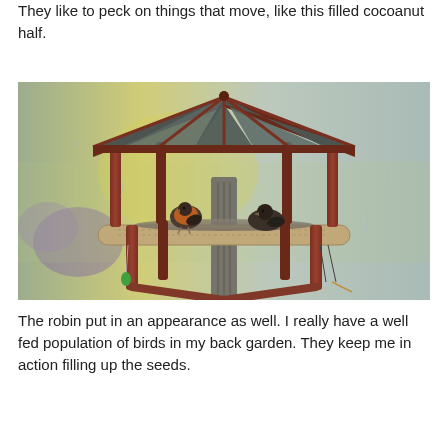They like to peck on things that move, like this filled cocoanut half.
[Figure (photo): A wooden hexagonal bird feeder on a post, with a dark shingled roof supported by wooden pillars, a log perch tray filled with seeds, and two birds visible — a robin with an orange breast on the left and a darker bird on the right. The background shows a blurred garden with purple flowers and green/yellow tones.]
The robin put in an appearance as well. I really have a well fed population of birds in my back garden. They keep me in action filling up the seeds.